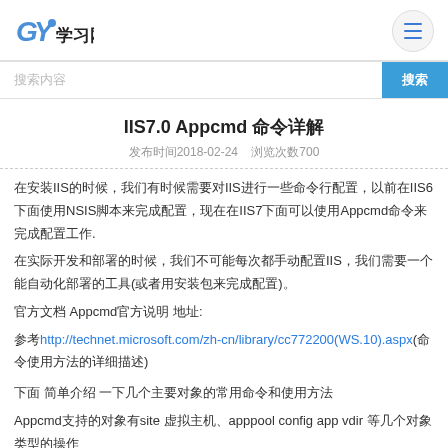GY学习网
搜索 搜索
IIS7.0 Appcmd 命令详解
发布时间2018-02-24    浏览次数700
在安装IIS的时候，我们有时候需要对IIS进行一些命令行配置，以前在IIS6下面使用NSIS脚本来完成配置，现在在IIS7下面可以使用Appcmd命令来完成配置工作.
在实际开发和部署的时候，我们不可能每次都手动配置IIS，我们需要一个能自动化部署的工具(或者用安装包来完成配置)。
官方文档 Appcmd官方说明 地址:
参考http://technet.microsoft.com/zh-cn/library/cc772200(WS.10).aspx(命令使用方法的详细描述)
下面 简单介绍 一下几个主要对象的常用命令和使用方法
Appcmd支持的对象有site 虚拟主机、apppool config app vdir 等几个对象类型的操作